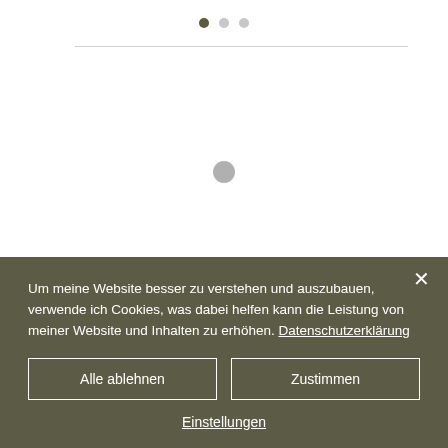[Figure (other): Three navigation dots at top: first dot active (dark), second and third inactive (grey)]
[Figure (other): A single grey circular spinner/loading dot in the center of the white content area]
Um meine Website besser zu verstehen und auszubauen, verwende ich Cookies, was dabei helfen kann die Leistung von meiner Website und Inhalten zu erhöhen. Datenschutzerklärung
Alle ablehnen
Zustimmen
Einstellungen